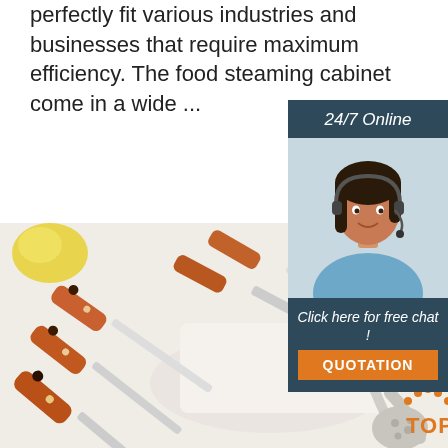perfectly fit various industries and businesses that require maximum efficiency. The food steaming cabinet come in a wide ...
[Figure (other): Orange 'Get Price' button]
[Figure (other): 24/7 Online customer support sidebar with photo of woman with headset, 'Click here for free chat!' text, and orange QUOTATION button]
[Figure (photo): Kitchen utensils with wooden handles (spatulas, knives, spoons) on white background with lemon]
[Figure (logo): TOP badge/logo in bottom right corner]